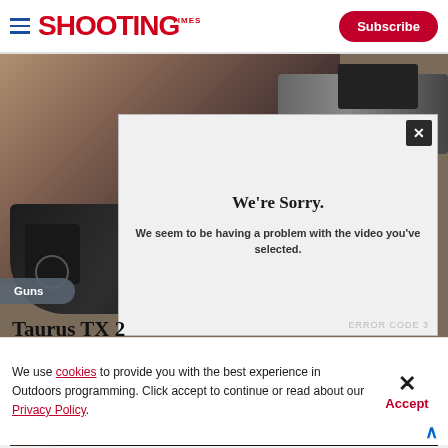Shooting Times — Subscribe
[Figure (photo): A black handgun (Taurus TX 2) on a sandy background with a video player overlay showing an error message: We're Sorry. We seem to be having a problem with the video you've selected. Error code shown at bottom right.]
Guns
Taurus TX 2
We're Sorry.
We seem to be having a problem with the video you've selected.
We use cookies to provide you with the best experience in Outdoors programming. Click accept to continue or read about our Privacy Policy.
Advertisement
[Figure (photo): Savage Arms advertisement banner: THE BEST STORIES START WITH SAVAGE. Dark background with logo.]